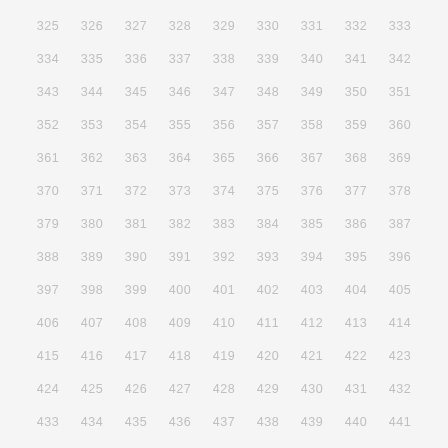325 326 327 328 329 330 331 332 333 334 335 336 337 338 339 340 341 342 343 344 345 346 347 348 349 350 351 352 353 354 355 356 357 358 359 360 361 362 363 364 365 366 367 368 369 370 371 372 373 374 375 376 377 378 379 380 381 382 383 384 385 386 387 388 389 390 391 392 393 394 395 396 397 398 399 400 401 402 403 404 405 406 407 408 409 410 411 412 413 414 415 416 417 418 419 420 421 422 423 424 425 426 427 428 429 430 431 432 433 434 435 436 437 438 439 440 441